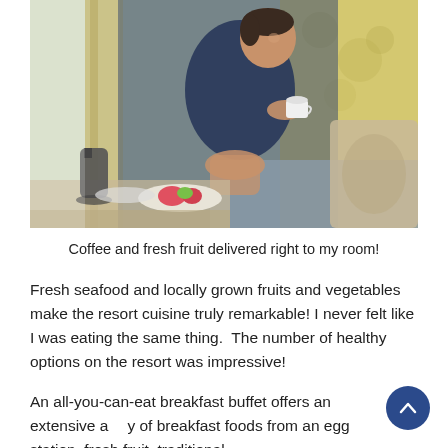[Figure (photo): A woman in a dark blue dress sits on a bed or couch near a window with curtains, smiling and holding a white coffee mug. In the foreground there is a tray with a coffee carafe and a plate of fresh fruit. There is a decorative pillow and a yellow patterned wall in the background.]
Coffee and fresh fruit delivered right to my room!
Fresh seafood and locally grown fruits and vegetables make the resort cuisine truly remarkable! I never felt like I was eating the same thing.  The number of healthy options on the resort was impressive!
An all-you-can-eat breakfast buffet offers an extensive array of breakfast foods from an egg station, fresh fruit, traditional